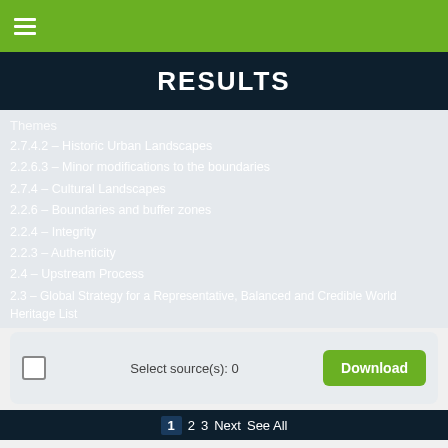≡  (navigation menu)
RESULTS
Themes
2.7.4.2 – Historic Urban Landscapes
2.2.6.3 – Minor modifications to the boundaries
2.7.4 – Cultural Landscapes
2.2.6 – Boundaries and buffer zones
2.2.4 – Integrity
2.2.3 – Authenticity
2.4 – Upstream Process
2.3 – Global Strategy for a Representative, Balanced and Credible World Heritage List
2.2 – Outstanding Universal Value
2.1 – Nominations to the World Heritage List
Select source(s): 0
Download
1 2 3 Next See All